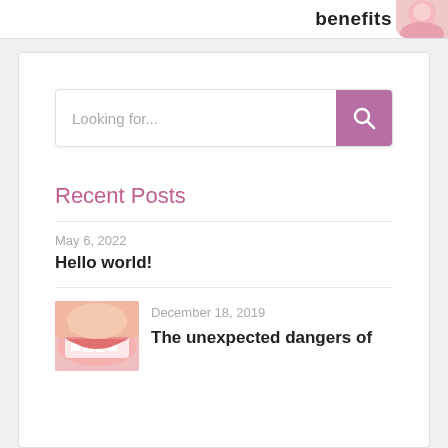benefits
Looking for...
Recent Posts
May 6, 2022
Hello world!
December 18, 2019
The unexpected dangers of